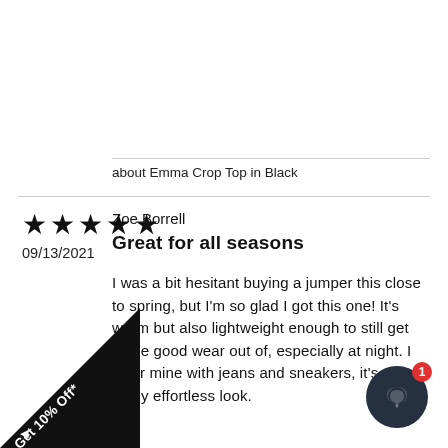about Emma Crop Top in Black
★★★★★
09/13/2021
Zoe Borrell
Great for all seasons
I was a bit hesitant buying a jumper this close to spring, but I'm so glad I got this one! It's warm but also lightweight enough to still get some good wear out of, especially at night. I wear mine with jeans and sneakers, it's a really effortless look.
Get 10% Off*